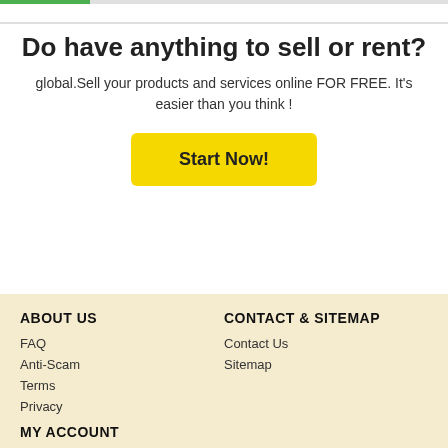Do have anything to sell or rent?
global.Sell your products and services online FOR FREE. It's easier than you think !
[Figure (other): Yellow 'Start Now!' call-to-action button]
ABOUT US
CONTACT & SITEMAP
FAQ
Contact Us
Anti-Scam
Sitemap
Terms
Privacy
MY ACCOUNT